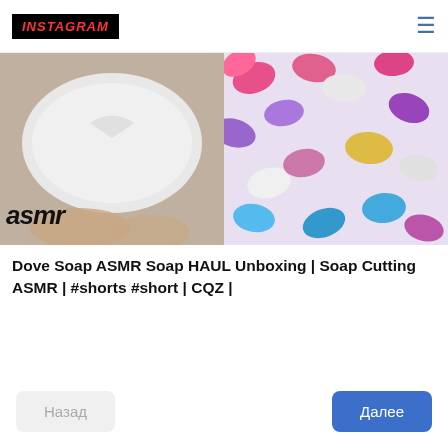INSTAGRAM
[Figure (photo): Split image: left side shows a white Dove soap bar with 'asmr' text, right side shows colorful oval pills/tablets scattered together]
Dove Soap ASMR Soap HAUL Unboxing | Soap Cutting ASMR | #shorts #short | CQZ |
Назад
Далее